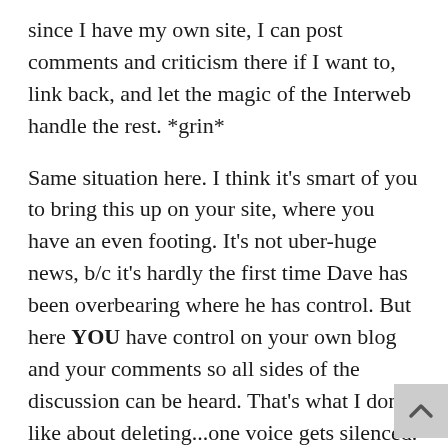since I have my own site, I can post comments and criticism there if I want to, link back, and let the magic of the Interweb handle the rest. *grin*
Same situation here. I think it's smart of you to bring this up on your site, where you have an even footing. It's not uber-huge news, b/c it's hardly the first time Dave has been overbearing where he has control. But here YOU have control on your own blog and your comments so all sides of the discussion can be heard. That's what I don't like about deleting...one voice gets silenced.
I've never deleted comments other than spam, but admittedly, I have no traffic (LOL), and don't attract controversy like Dave does. That being said, my most recent posting about him was POSITIVE...I'm by no means out to get him or anything. I like him...he's just